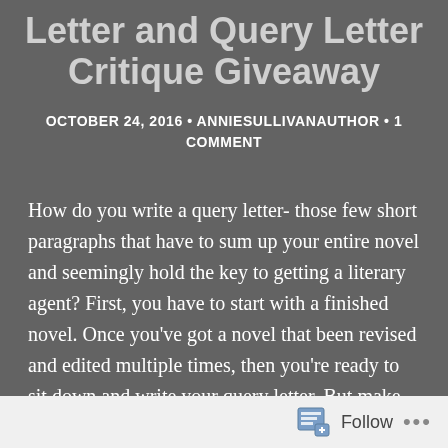Letter and Query Letter Critique Giveaway
OCTOBER 24, 2016 • ANNIESULLIVANAUTHOR • 1 COMMENT
How do you write a query letter- those few short paragraphs that have to sum up your entire novel and seemingly hold the key to getting a literary agent? First, you have to start with a finished novel. Once you've got a novel that been revised and edited multiple times, then you're ready to sit down and write your query letter. But make sure you've researched agents and know who would be a good fit for you.
Follow